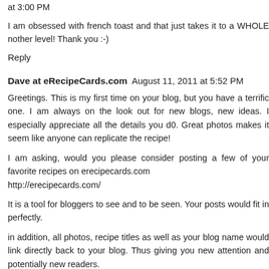at 3:00 PM
I am obsessed with french toast and that just takes it to a WHOLE nother level! Thank you :-)
Reply
Dave at eRecipeCards.com  August 11, 2011 at 5:52 PM
Greetings. This is my first time on your blog, but you have a terrific one. I am always on the look out for new blogs, new ideas. I especially appreciate all the details you d0. Great photos makes it seem like anyone can replicate the recipe!
I am asking, would you please consider posting a few of your favorite recipes on erecipecards.com http://erecipecards.com/
It is a tool for bloggers to see and to be seen. Your posts would fit in perfectly.
in addition, all photos, recipe titles as well as your blog name would link directly back to your blog. Thus giving you new attention and potentially new readers.